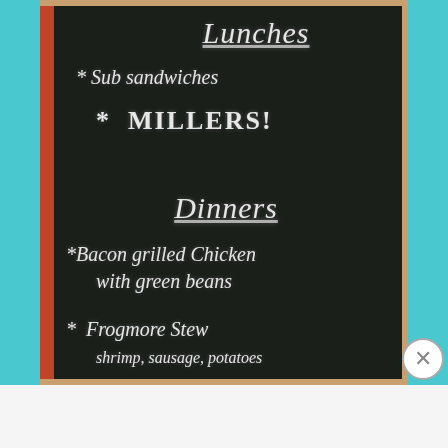[Figure (photo): Chalkboard menu sign showing Lunches and Dinners sections with chalk handwriting on a dark board with wooden/tan border]
Lunches
* Sub sandwiches
* MILLERS!
Dinners
* Bacon grilled Chicken with green beans
* Frogmore Stew shrimp, sausage, potatoes
Advertisements
[Figure (other): Seamless food ordering advertisement banner with pizza image, red Seamless logo, and ORDER NOW button]